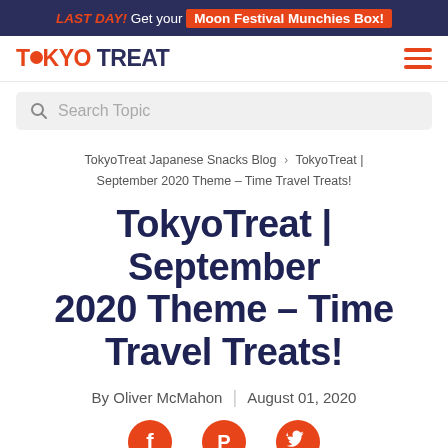LAST DAY! Get your Moon Festival Munchies Box!
[Figure (logo): TokyoTreat logo with orange circle replacing the O in TOKYO, and hamburger menu icon]
[Figure (screenshot): Search Topic search bar]
TokyoTreat Japanese Snacks Blog › TokyoTreat | September 2020 Theme – Time Travel Treats!
TokyoTreat | September 2020 Theme – Time Travel Treats!
By Oliver McMahon | August 01, 2020
[Figure (infographic): Social share icons: Facebook, Pinterest, Twitter in orange circles]